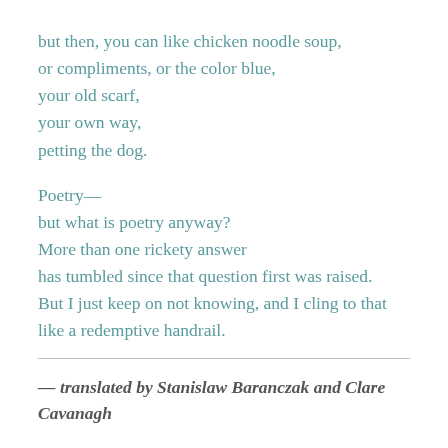but then, you can like chicken noodle soup,
or compliments, or the color blue,
your old scarf,
your own way,
petting the dog.

Poetry—
but what is poetry anyway?
More than one rickety answer
has tumbled since that question first was raised.
But I just keep on not knowing, and I cling to that
like a redemptive handrail.
— translated by Stanislaw Baranczak and Clare Cavanagh